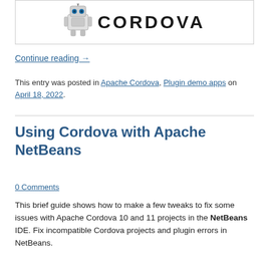[Figure (illustration): Cordova robot logo on left with 'CORDOVA' text in bold on right, inside a bordered box]
Continue reading →
This entry was posted in Apache Cordova, Plugin demo apps on April 18, 2022.
Using Cordova with Apache NetBeans
0 Comments
This brief guide shows how to make a few tweaks to fix some issues with Apache Cordova 10 and 11 projects in the NetBeans IDE. Fix incompatible Cordova projects and plugin errors in NetBeans.